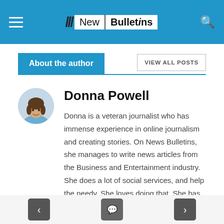New Bulletins
About the author
Donna Powell
Donna is a veteran journalist who has immense experience in online journalism and creating stories. On News Bulletins, she manages to write news articles from the Business and Entertainment industry. She does a lot of social services, and help the needy. She loves doing that. She has a masters degree in English literature, and that gives her an edge while writing. Along with
< [search] >